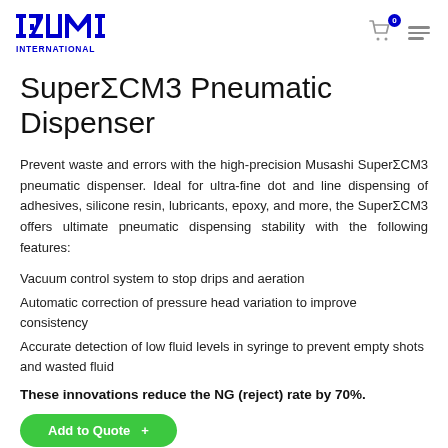IZUMI INTERNATIONAL — logo header with cart icon and menu
SuperΣCM3 Pneumatic Dispenser
Prevent waste and errors with the high-precision Musashi SuperΣCM3 pneumatic dispenser. Ideal for ultra-fine dot and line dispensing of adhesives, silicone resin, lubricants, epoxy, and more, the SuperΣCM3 offers ultimate pneumatic dispensing stability with the following features:
Vacuum control system to stop drips and aeration
Automatic correction of pressure head variation to improve consistency
Accurate detection of low fluid levels in syringe to prevent empty shots and wasted fluid
These innovations reduce the NG (reject) rate by 70%.